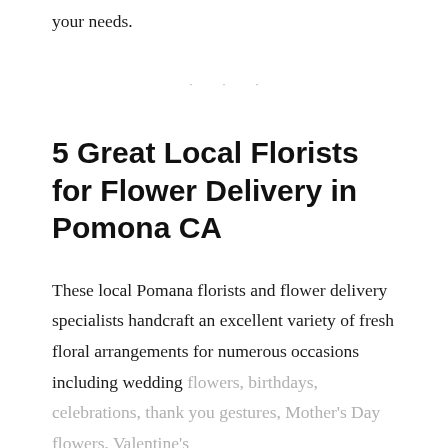your needs.
· · ·
5 Great Local Florists for Flower Delivery in Pomona CA
These local Pomana florists and flower delivery specialists handcraft an excellent variety of fresh floral arrangements for numerous occasions including wedding flowers, birthdays, celebrations, thank you gestures, Mother's Day flowers, Valentine's